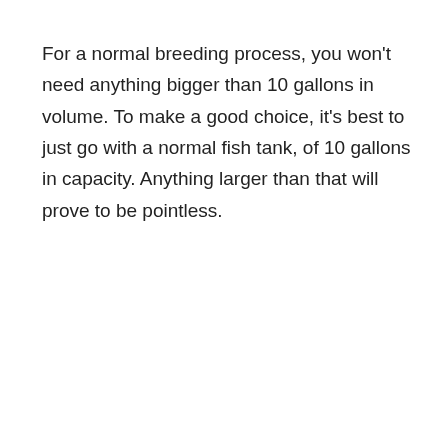For a normal breeding process, you won't need anything bigger than 10 gallons in volume. To make a good choice, it's best to just go with a normal fish tank, of 10 gallons in capacity. Anything larger than that will prove to be pointless.